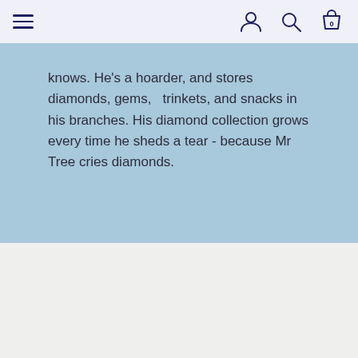navigation header with menu, user, search, and cart icons
knows. He's a hoarder, and stores diamonds, gems,  trinkets, and snacks in his branches. His diamond collection grows every time he sheds a tear - because Mr Tree cries diamonds.